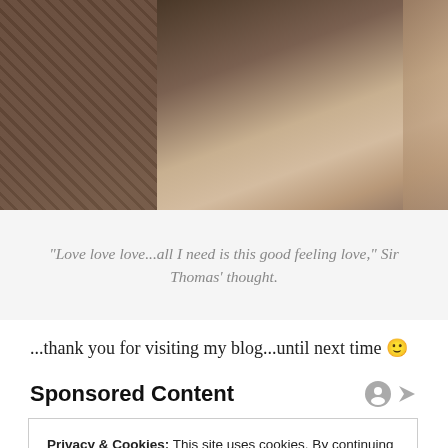[Figure (photo): A dog photographed from above on a wooden floor next to a tiled surface, warm brown tones]
“Love love love...all I need is this good feeling love,” Sir Thomas’ thought.
...thank you for visiting my blog...until next time 🙂
Sponsored Content
Privacy & Cookies: This site uses cookies. By continuing to use this website, you agree to their use.
To find out more, including how to control cookies, see here: Cookie Policy